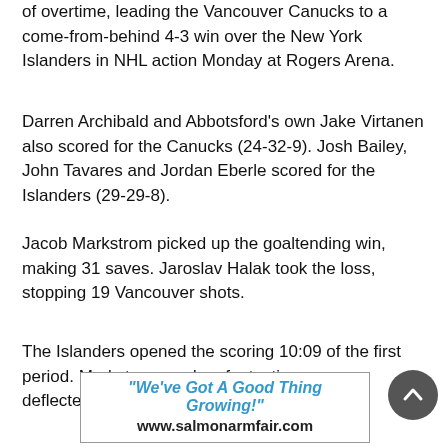of overtime, leading the Vancouver Canucks to a come-from-behind 4-3 win over the New York Islanders in NHL action Monday at Rogers Arena.
Darren Archibald and Abbotsford's own Jake Virtanen also scored for the Canucks (24-32-9). Josh Bailey, John Tavares and Jordan Eberle scored for the Islanders (29-29-8).
Jacob Markstrom picked up the goaltending win, making 31 saves. Jaroslav Halak took the loss, stopping 19 Vancouver shots.
The Islanders opened the scoring 10:09 of the first period. Markstrom made a fantastic save on a deflected shot by
[Figure (other): Advertisement banner for Salmon Arm Fair reading '"We've Got A Good Thing Growing!"' and 'www.salmonarmfair.com']